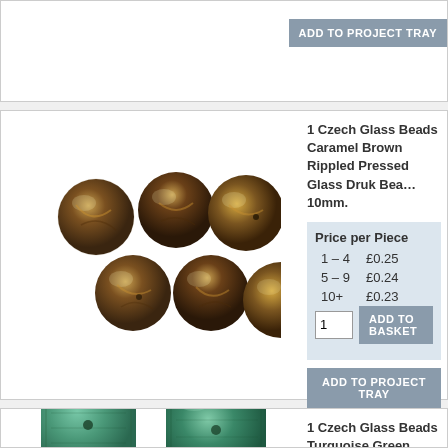[Figure (other): Partial product card from previous item, showing ADD TO PROJECT TRAY button]
[Figure (photo): Photo of Caramel Brown Rippled Pressed Glass Druk Beads 10mm - six round brown marbled glass beads]
1 Czech Glass Beads Caramel Brown Rippled Pressed Glass Druk Beads 10mm.
| Price per Piece |  |
| --- | --- |
| 1 – 4 | £0.25 |
| 5 – 9 | £0.24 |
| 10+ | £0.23 |
1  ADD TO BASKET
ADD TO PROJECT TRAY
[Figure (photo): Photo of Turquoise Green Travertine Pressed Glass Square Beads 18mm - two square green glass beads]
1 Czech Glass Beads Turquoise Green Travertine Pressed Glass Square Beads 18mm.